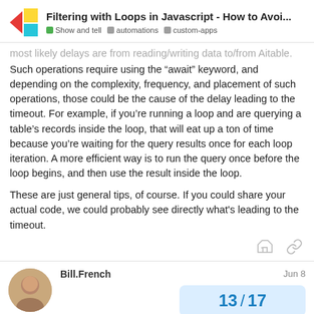Filtering with Loops in Javascript - How to Avoi...
most likely delays are from reading/writing data to/from Aitable. Such operations require using the “await” keyword, and depending on the complexity, frequency, and placement of such operations, those could be the cause of the delay leading to the timeout. For example, if you’re running a loop and are querying a table’s records inside the loop, that will eat up a ton of time because you’re waiting for the query results once for each loop iteration. A more efficient way is to run the query once before the loop begins, and then use the result inside the loop.
These are just general tips, of course. If you could share your actual code, we could probably see directly what's leading to the timeout.
Bill.French  Jun 8
13 / 17